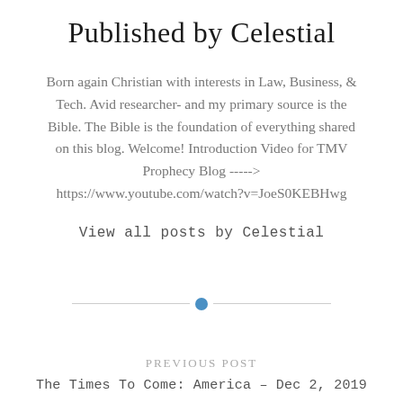Published by Celestial
Born again Christian with interests in Law, Business, & Tech. Avid researcher- and my primary source is the Bible. The Bible is the foundation of everything shared on this blog. Welcome! Introduction Video for TMV Prophecy Blog -----> https://www.youtube.com/watch?v=JoeS0KEBHwg
View all posts by Celestial
PREVIOUS POST
The Times To Come: America – Dec 2, 2019